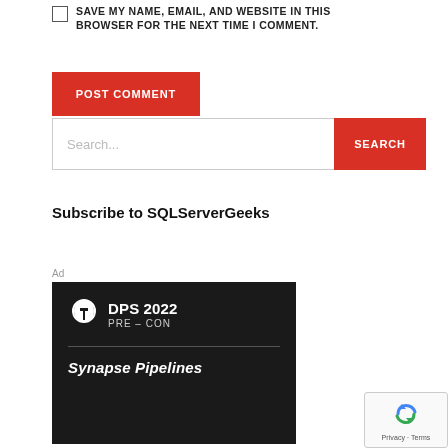SAVE MY NAME, EMAIL, AND WEBSITE IN THIS BROWSER FOR THE NEXT TIME I COMMENT.
POST COMMENT
Search...
SEARCH
Subscribe to SQLServerGeeks
Ad
[Figure (other): DPS 2022 PRE-CON advertisement banner showing logo and text 'Synapse Pipelines' on dark background]